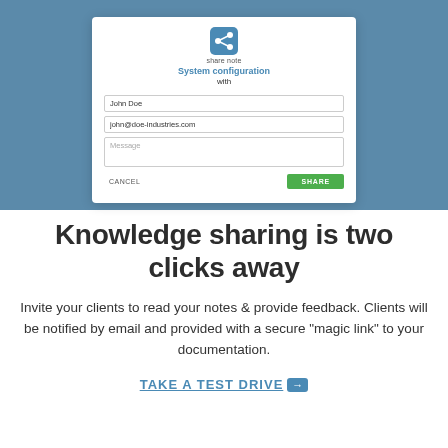[Figure (screenshot): Screenshot of a 'Share Note' modal dialog on a steel-blue background. The modal has a share icon at top, title 'System configuration' and 'with', input fields for 'John Doe' and 'john@doe-industries.com', a Message textarea, and CANCEL / SHARE buttons.]
Knowledge sharing is two clicks away
Invite your clients to read your notes & provide feedback. Clients will be notified by email and provided with a secure "magic link" to your documentation.
TAKE A TEST DRIVE →